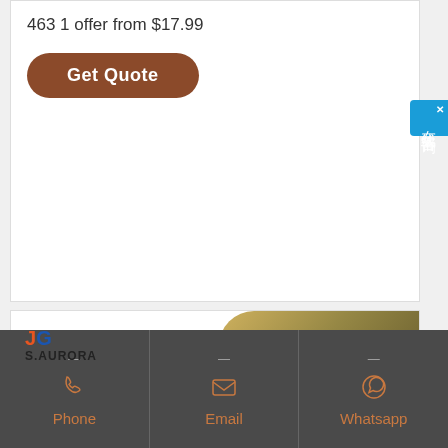463 1 offer from $17.99
Get Quote
[Figure (logo): S.AURORA brand logo with stylized JG letters in blue and orange, and a product image showing a rounded disc/lens object in golden-green tones]
Phone | Email | Whatsapp
[Figure (other): Sidebar widget with Chinese text: 在线咨询 (Online Consultation) on blue background with X close button]